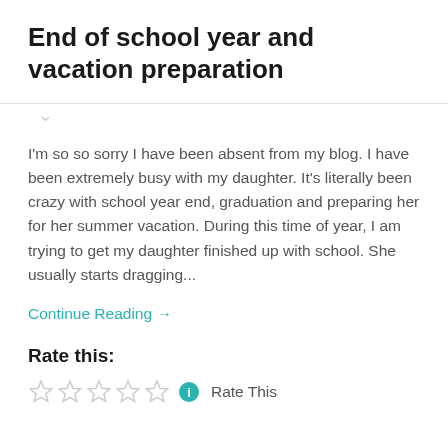End of school year and vacation preparation
I'm so so sorry I have been absent from my blog. I have been extremely busy with my daughter. It's literally been crazy with school year end, graduation and preparing her for her summer vacation. During this time of year, I am trying to get my daughter finished up with school. She usually starts dragging...
Continue Reading →
Rate this:
Rate This